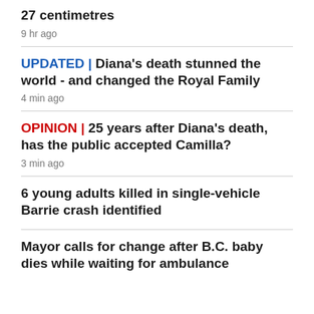27 centimetres
9 hr ago
UPDATED | Diana's death stunned the world - and changed the Royal Family
4 min ago
OPINION | 25 years after Diana's death, has the public accepted Camilla?
3 min ago
6 young adults killed in single-vehicle Barrie crash identified
Mayor calls for change after B.C. baby dies while waiting for ambulance